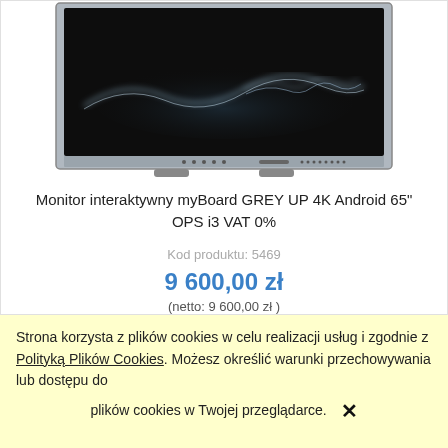[Figure (photo): Interactive monitor myBoard GREY UP 4K — large flat-panel display with dark screen showing a white/blue wave graphic, silver bezel with controls at bottom]
Monitor interaktywny myBoard GREY UP 4K Android 65" OPS i3 VAT 0%
Kod produktu: 5469
9 600,00 zł
(netto: 9 600,00 zł )
Strona korzysta z plików cookies w celu realizacji usług i zgodnie z Polityką Plików Cookies. Możesz określić warunki przechowywania lub dostępu do plików cookies w Twojej przeglądarce.